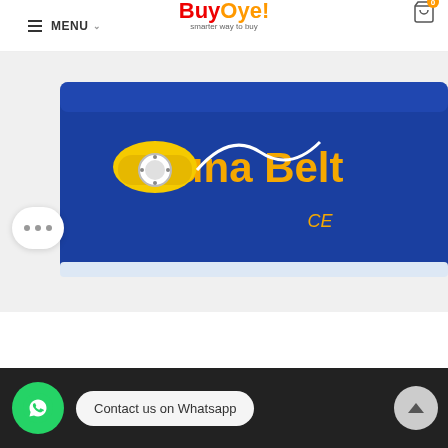MENU - BuyOye! smarter way to buy
[Figure (photo): A blue Sauna Belt product laid flat showing the product label 'Sauna Belt' in yellow text on blue fabric, with a yellow controller/pump device with white cord attached, and CE certification mark visible.]
Contact us on Whatsapp